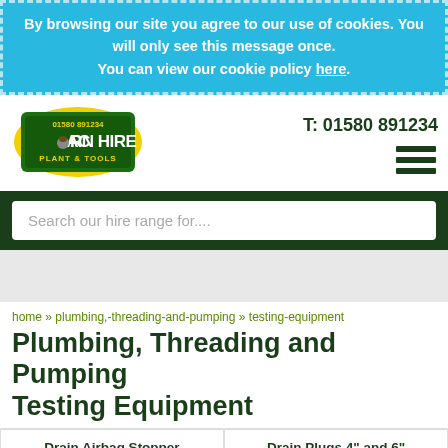By browsing our site you agree to our use of cookies. You will only see this message once. You can view our cookie policy here.
[Figure (logo): Acorn Hire Plant & Tools logo - oval green badge with yellow border, text 01580 891234 at top, ACORN HIRE in large white letters, PLANT & TOOLS below]
T: 01580 891234
Search our hire range for....
home » plumbing,-threading-and-pumping » testing-equipment
Plumbing, Threading and Pumping Testing Equipment
Drain Airbag Stopper
Drain Plugs 4" and 6"